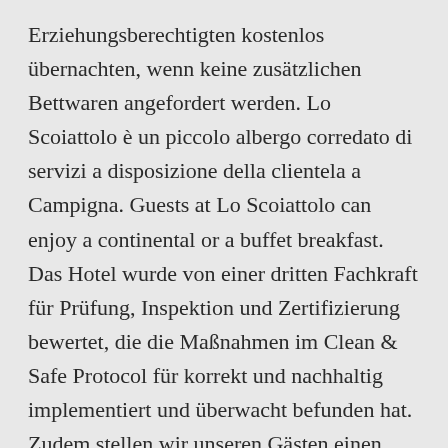Erziehungsberechtigten kostenlos übernachten, wenn keine zusätzlichen Bettwaren angefordert werden. Lo Scoiattolo è un piccolo albergo corredato di servizi a disposizione della clientela a Campigna. Guests at Lo Scoiattolo can enjoy a continental or a buffet breakfast. Das Hotel wurde von einer dritten Fachkraft für Prüfung, Inspektion und Zertifizierung bewertet, die die Maßnahmen im Clean & Safe Protocol für korrekt und nachhaltig implementiert und überwacht befunden hat. Zudem stellen wir unseren Gästen einen Haartrockner zur Verfügung. 2) The faucets have flow reducers to limit water consumption. Reisepass vorlegen. Das Gebiet umfasst 826,34 km². Hotel Lo Scoiattolo in